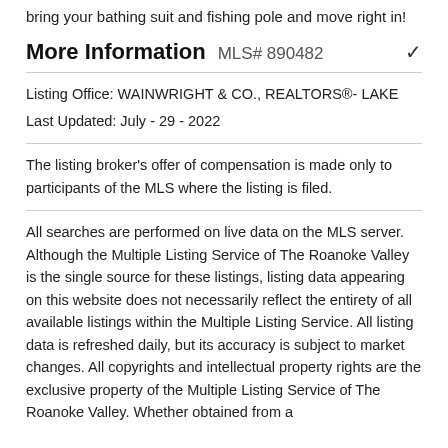bring your bathing suit and fishing pole and move right in!
More Information  MLS# 890482
Listing Office: WAINWRIGHT & CO., REALTORS®- LAKE
Last Updated: July - 29 - 2022
The listing broker's offer of compensation is made only to participants of the MLS where the listing is filed.
All searches are performed on live data on the MLS server. Although the Multiple Listing Service of The Roanoke Valley is the single source for these listings, listing data appearing on this website does not necessarily reflect the entirety of all available listings within the Multiple Listing Service. All listing data is refreshed daily, but its accuracy is subject to market changes. All copyrights and intellectual property rights are the exclusive property of the Multiple Listing Service of The Roanoke Valley. Whether obtained from a